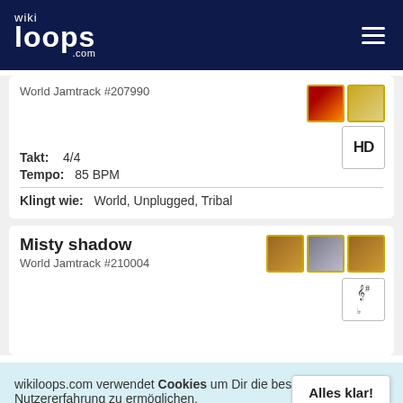wikiloops.com
World Jamtrack #207990
Takt: 4/4
Tempo: 85 BPM
Klingt wie: World, Unplugged, Tribal
Misty shadow
World Jamtrack #210004
wikiloops.com verwendet Cookies um Dir die beste Nutzererfahrung zu ermöglichen. Lies mehr in unseren Datenschutzbestimmungen .